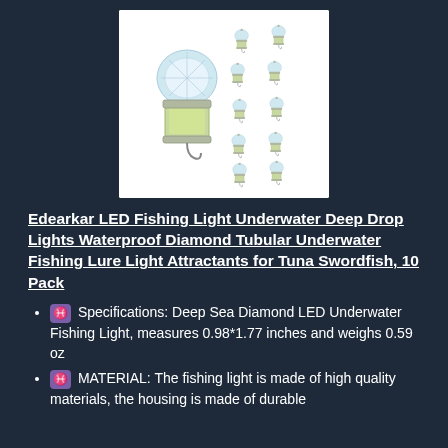[Figure (photo): Product photo of Edearkar LED fishing lights: one large close-up light on the left and 10 smaller lights arranged in a grid on the right, all against a white background]
Edearkar LED Fishing Light Underwater Deep Drop Lights Waterproof Diamond Tubular Underwater Fishing Lure Light Attractants for Tuna Swordfish, 10 Pack
♓ Specifications: Deep Sea Diamond LED Underwater Fishing Light, measures 0.98*1.77 inches and weighs 0.59 oz
♓ MATERIAL: The fishing light is made of high quality materials, the housing is made of durable